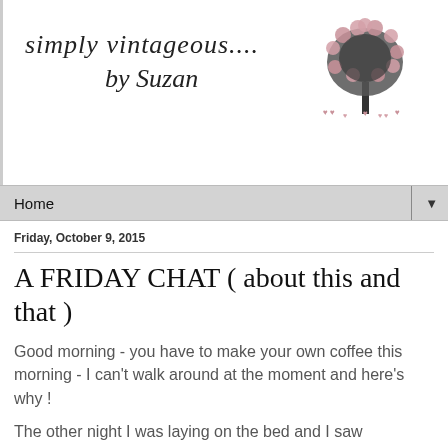[Figure (logo): Blog header with cursive script text 'simply vintageous.... by Suzan' and a decorative tree illustration with pink heart-shaped leaves on the right]
Home ▼
Friday, October 9, 2015
A FRIDAY CHAT ( about this and that )
Good morning - you have to make your own coffee this morning - I can't walk around at the moment and here's why !
The other night I was laying on the bed and I saw something